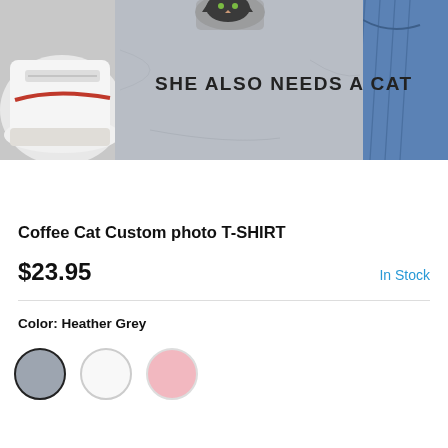[Figure (photo): A grey t-shirt with text 'SHE ALSO NEEDS A CAT' and a cat peeking from a mug graphic, laid flat next to a white sneaker and denim jeans on a white background.]
Coffee Cat Custom photo T-SHIRT
$23.95
In Stock
Color: Heather Grey